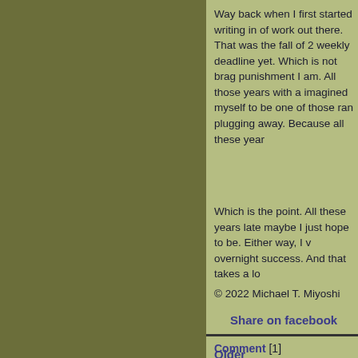Way back when I first started writing in of work out there. That was the fall of 2 weekly deadline yet. Which is not brag punishment I am. All those years with a imagined myself to be one of those ran plugging away. Because all these year
Which is the point. All these years late maybe I just hope to be. Either way, I v overnight success. And that takes a lo
© 2022 Michael T. Miyoshi
Share on facebook
Comment [1]
Older